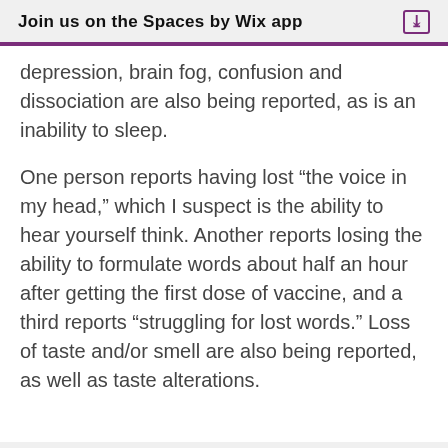Join us on the Spaces by Wix app
depression, brain fog, confusion and dissociation are also being reported, as is an inability to sleep.
One person reports having lost “the voice in my head,” which I suspect is the ability to hear yourself think. Another reports losing the ability to formulate words about half an hour after getting the first dose of vaccine, and a third reports “struggling for lost words.” Loss of taste and/or smell are also being reported, as well as taste alterations.